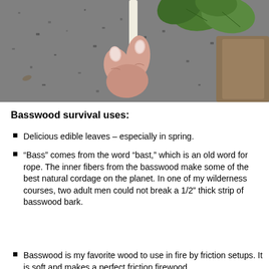[Figure (photo): Close-up photograph of a hand holding a white plant stem, with green leaves visible at the top and dark gravel ground in the background.]
Basswood survival uses:
Delicious edible leaves – especially in spring.
“Bass” comes from the word “bast,” which is an old word for rope. The inner fibers from the basswood make some of the best natural cordage on the planet. In one of my wilderness courses, two adult men could not break a 1/2” thick strip of basswood bark.
Basswood is my favorite wood to use in fire by friction setups. It is soft and makes a perfect friction firewood